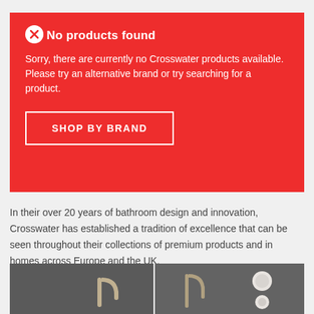No products found
Sorry, there are currently no Crosswater products available. Please try an alternative brand or try searching for a product.
SHOP BY BRAND
In their over 20 years of bathroom design and innovation, Crosswater has established a tradition of excellence that can be seen throughout their collections of premium products and in homes across Europe and the UK.
[Figure (photo): Photo strip showing bathroom faucet and accessory products on dark background]